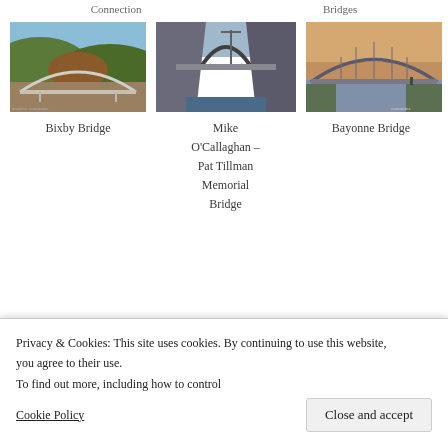Connection   Bridges
[Figure (photo): Bixby Bridge - concrete arch bridge over coastal canyon, green hills]
Bixby Bridge
[Figure (photo): Mike O'Callaghan – Pat Tillman Memorial Bridge - steel arch bridge over Hoover Dam canyon]
Mike O'Callaghan – Pat Tillman Memorial Bridge
[Figure (photo): Bayonne Bridge - steel arch bridge over water at sunset/dusk]
Bayonne Bridge
[Figure (photo): Partial view of a beam/cable bridge over water with green hills]
[Figure (photo): Partial view of Golden Gate Bridge with red towers against blue sky]
Privacy & Cookies: This site uses cookies. By continuing to use this website, you agree to their use.
To find out more, including how to control
Cookie Policy
Close and accept